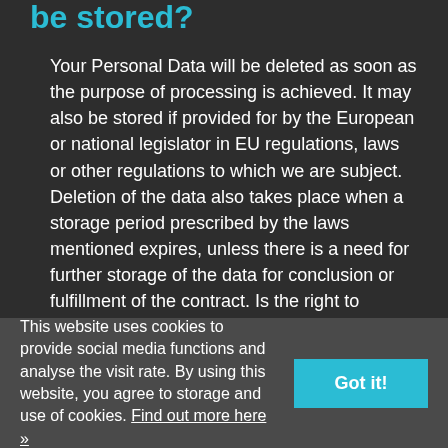be stored?
Your Personal Data will be deleted as soon as the purpose of processing is achieved. It may also be stored if provided for by the European or national legislator in EU regulations, laws or other regulations to which we are subject. Deletion of the data also takes place when a storage period prescribed by the laws mentioned expires, unless there is a need for further storage of the data for conclusion or fulfillment of the contract. Is the right to process
This website uses cookies to provide social media functions and analyse the visit rate. By using this website, you agree to storage and use of cookies. Find out more here »